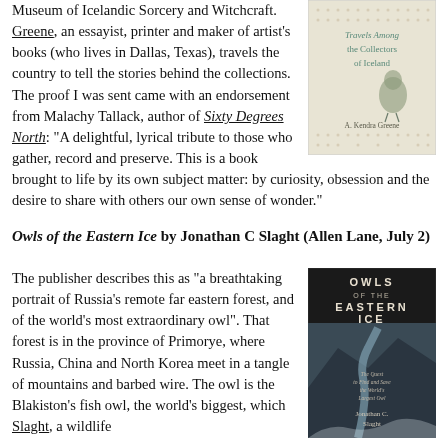Museum of Icelandic Sorcery and Witchcraft. Greene, an essayist, printer and maker of artist's books (who lives in Dallas, Texas), travels the country to tell the stories behind the collections. The proof I was sent came with an endorsement from Malachy Tallack, author of Sixty Degrees North: “A delightful, lyrical tribute to those who gather, record and preserve. This is a book brought to life by its own subject matter: by curiosity, obsession and the desire to share with others our own sense of wonder.”
[Figure (photo): Book cover: Travels Among the Collectors of Iceland by A. Kendra Greene, illustrated with a bird on a dotted/textured background.]
Owls of the Eastern Ice by Jonathan C Slaght (Allen Lane, July 2)
The publisher describes this as “a breathtaking portrait of Russia’s remote far eastern forest, and of the world’s most extraordinary owl”. That forest is in the province of Primorye, where Russia, China and North Korea meet in a tangle of mountains and barbed wire. The owl is the Blakiston’s fish owl, the world’s biggest, which Slaght, a wildlife
[Figure (photo): Book cover: Owls of the Eastern Ice by Jonathan C. Slaght. Dark photographic cover showing a snowy river valley with dramatic text title.]